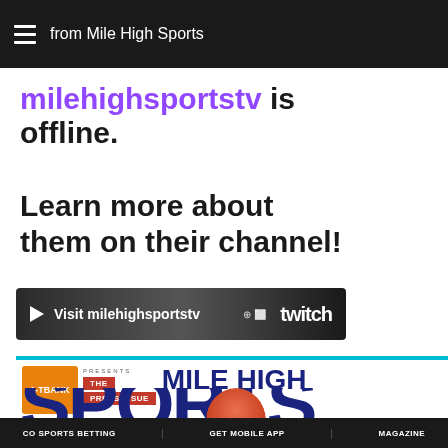from Mile High Sports
milehighsportstv is offline.
Learn more about them on their channel!
[Figure (screenshot): Dark button bar with play arrow, text 'Visit milehighsportstv' and Twitch logo]
[Figure (screenshot): Mile High Sports magazine cover preview showing 1TBANK logo, THE PREPS ISSUE badge, MILE HIGH SPORTS masthead, and partial SPORTS text with red-haired person]
CO SPORTS BETTING   GET MOBILE APP   MAGAZINE